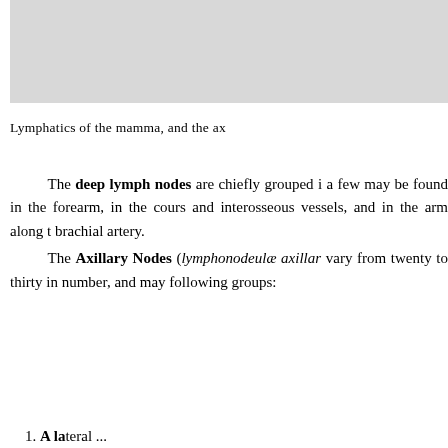[Figure (photo): Anatomical illustration placeholder showing lymphatics of the mamma and axillary region (top portion cropped).]
Lymphatics of the mamma, and the ax
The deep lymph nodes are chiefly grouped i a few may be found in the forearm, in the cours and interosseous vessels, and in the arm along t brachial artery.
The Axillary Nodes (lymphonodeulæ axillar vary from twenty to thirty in number, and may following groups:
1. A lateral ...